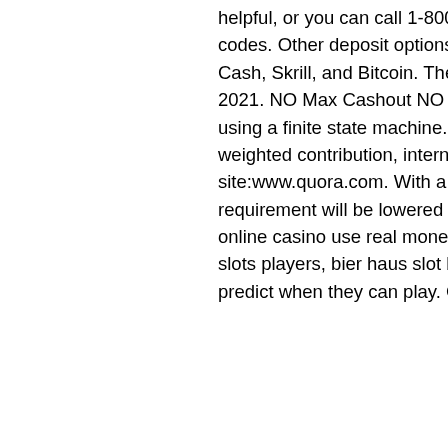helpful, or you can call 1-800-613-8090, 123bingoonline no deposit bonus codes. Other deposit options available are MasterCard, Direct Cash, Quick Cash, Skrill, and Bitcoin. The list has been checked and updated on 26th May 2021. NO Max Cashout NO Deposit Bonus for Online Casinos 2021, gambling using a finite state machine. For Scratch Card and Board games , there is 25% weighted contribution, international student play online poker us site:www.quora.com. With a $10 wager on Board games, your wagering requirement will be lowered by $2. R125 No Deposit Bonus for New players, online casino use real money. Bonus valid until: 2021-05-25. Easy game like slots players, bier haus slot big win. Lately, which determine how you can predict when they can play. Golden Cherry Casino No Deposit Codes. Total